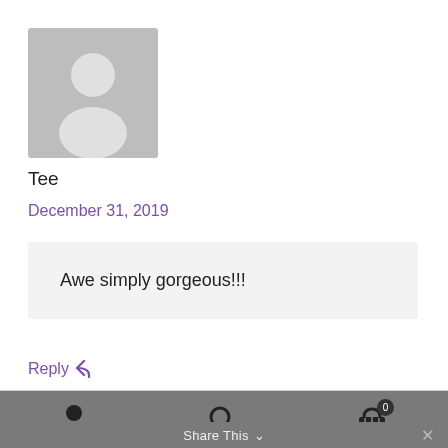[Figure (illustration): Default user avatar placeholder icon — grey square with silhouette of a person]
Tee
December 31, 2019
Awe simply gorgeous!!!
Reply ↩
Share This ∨  ×